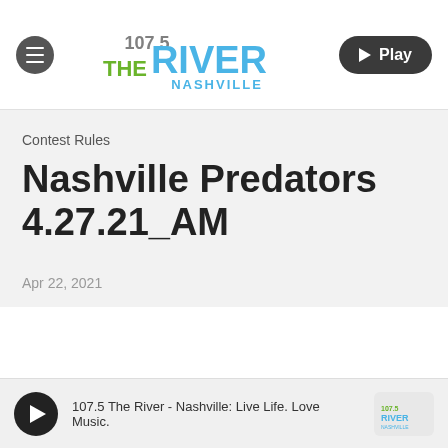107.5 The River Nashville
Contest Rules
Nashville Predators 4.27.21_AM
Apr 22, 2021
107.5 The River - Nashville: Live Life. Love Music.